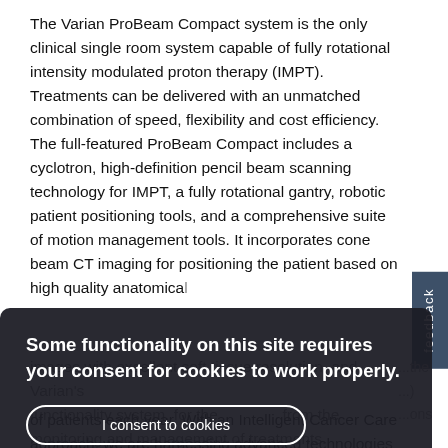The Varian ProBeam Compact system is the only clinical single room system capable of fully rotational intensity modulated proton therapy (IMPT). Treatments can be delivered with an unmatched combination of speed, flexibility and cost efficiency. The full-featured ProBeam Compact includes a cyclotron, high-definition pencil beam scanning technology for IMPT, a fully rotational gantry, robotic patient positioning tools, and a comprehensive suite of motion management tools. It incorporates cone beam CT imaging for positioning the patient based on high quality anatomical images with excellent soft tissue resolution, and Varian's functionality system, for the monitoring and management of treatments.
[Figure (screenshot): Cookie consent overlay dialog with dark background. Contains bold white text: 'Some functionality on this site requires your consent for cookies to work properly.' Two buttons: 'I consent to cookies' and 'I want more information'. A 'feedback' tab is visible on the right side.]
...without fear of cancer. For ...have developed, built and delivered ...solutions for our ...help them treat millions of patients each year. With an Intelligent Cancer Care approach, we are harnessing advanced technologies like